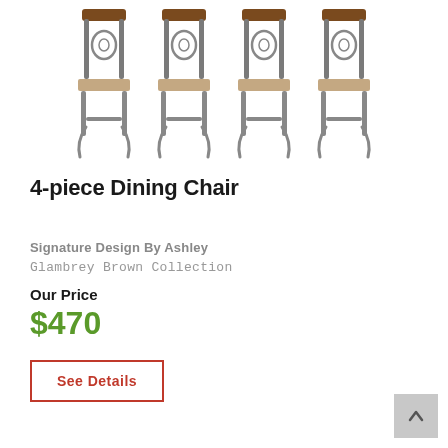[Figure (photo): Four decorative dining chairs with metal scroll-work backs, brown wooden top rail, and beige upholstered seats, shown side by side]
4-piece Dining Chair
Signature Design By Ashley
Glambrey Brown Collection
Our Price
$470
See Details